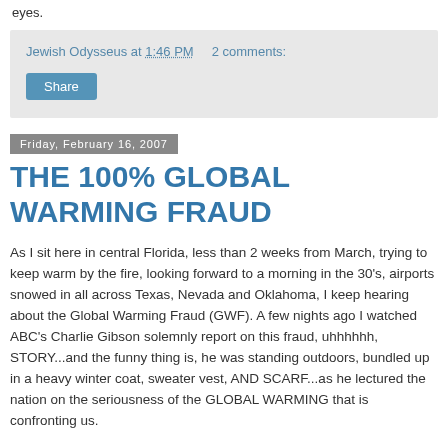eyes.
Jewish Odysseus at 1:46 PM   2 comments:
Share
Friday, February 16, 2007
THE 100% GLOBAL WARMING FRAUD
As I sit here in central Florida, less than 2 weeks from March, trying to keep warm by the fire, looking forward to a morning in the 30's, airports snowed in all across Texas, Nevada and Oklahoma, I keep hearing about the Global Warming Fraud (GWF). A few nights ago I watched ABC's Charlie Gibson solemnly report on this fraud, uhhhhhh, STORY...and the funny thing is, he was standing outdoors, bundled up in a heavy winter coat, sweater vest, AND SCARF...as he lectured the nation on the seriousness of the GLOBAL WARMING that is confronting us.